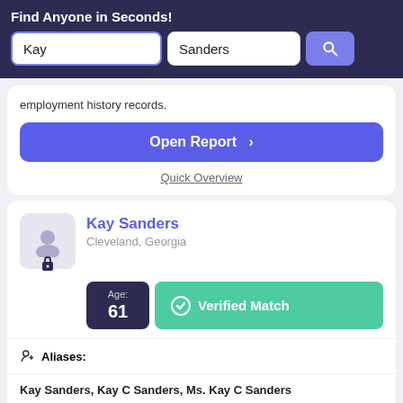Find Anyone in Seconds!
Kay | Sanders
employment history records.
Open Report >
Quick Overview
Kay Sanders
Cleveland, Georgia
Age: 61
Verified Match
Aliases:
Kay Sanders, Kay C Sanders, Ms. Kay C Sanders
Phone Numbers: